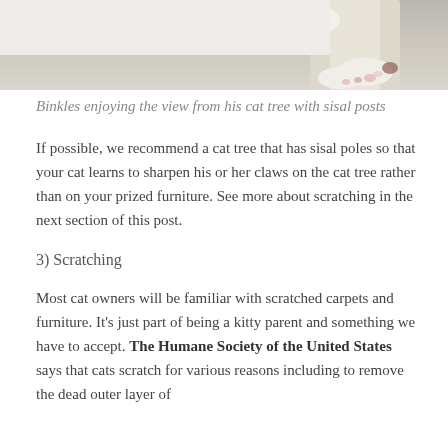[Figure (photo): A cat resting on a cat tree with sisal posts, paws and white fur visible against a light background]
Binkles enjoying the view from his cat tree with sisal posts
If possible, we recommend a cat tree that has sisal poles so that your cat learns to sharpen his or her claws on the cat tree rather than on your prized furniture. See more about scratching in the next section of this post.
3) Scratching
Most cat owners will be familiar with scratched carpets and furniture. It's just part of being a kitty parent and something we have to accept. The Humane Society of the United States says that cats scratch for various reasons including to remove the dead outer layer of